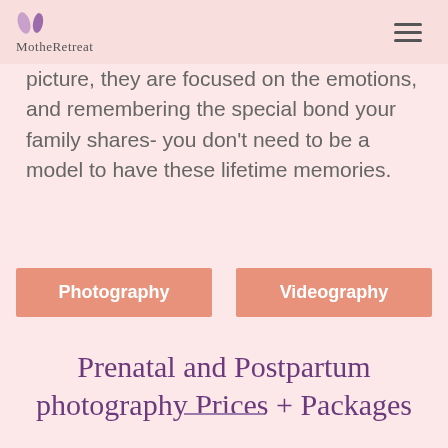MotheRetreat
picture, they are focused on the emotions, and remembering the special bond your family shares- you don't need to be a model to have these lifetime memories.
Photography
Videography
Prenatal and Postpartum photography Prices + Packages